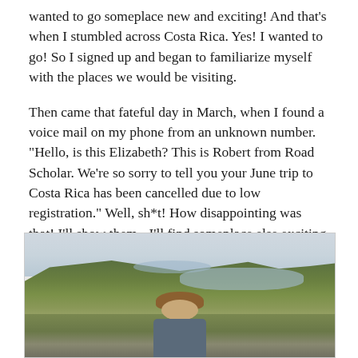wanted to go someplace new and exciting! And that's when I stumbled across Costa Rica. Yes! I wanted to go! So I signed up and began to familiarize myself with the places we would be visiting.
Then came that fateful day in March, when I found a voice mail on my phone from an unknown number. "Hello, is this Elizabeth? This is Robert from Road Scholar. We're so sorry to tell you your June trip to Costa Rica has been cancelled due to low registration." Well, sh*t! How disappointing was that! I'll show them - I'll find someplace else exciting to go.
Click on the photos below for a larger image.
[Figure (photo): A person standing in front of a hilly green landscape with water inlets visible in the background under an overcast sky.]